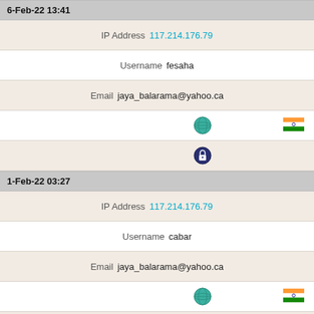6-Feb-22 13:41
IP Address  117.214.176.79
Username  fesaha
Email  jaya_balarama@yahoo.ca
[Figure (illustration): Globe icon and India flag icon in a row]
[Figure (illustration): Lock/privacy icon]
1-Feb-22 03:27
IP Address  117.214.176.79
Username  cabar
Email  jaya_balarama@yahoo.ca
[Figure (illustration): Globe icon and India flag icon in a row]
[Figure (illustration): Lock/privacy icon]
31-Jan-22 05:28
IP Address  181.214.206.199
Username  ChrisNah
Email  kenniesmama@yahoo.ca
[Figure (illustration): Globe icon and US flag icon in a row]